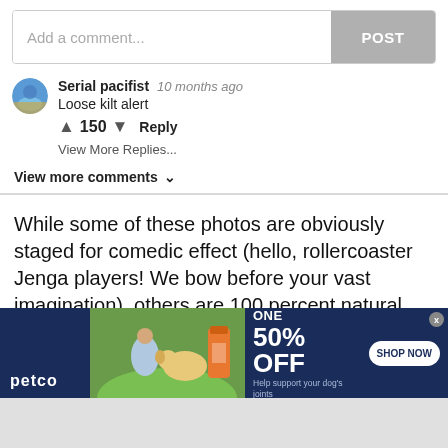Add a comment...
POST
Serial pacifist  10 months ago
Loose kilt alert
150  Reply
View More Replies...
View more comments ∨
While some of these photos are obviously staged for comedic effect (hello, rollercoaster Jenga players! We bow before your vast imagination), others are 100 percent natural. The timing of the snaps couldn't have been more perfect and the pics show off incredibly genuine reactions
[Figure (screenshot): Petco advertisement banner with BUY ONE, GET ONE 50% OFF offer, showing a woman with a dog and supplement bottle, with SHOP NOW button]